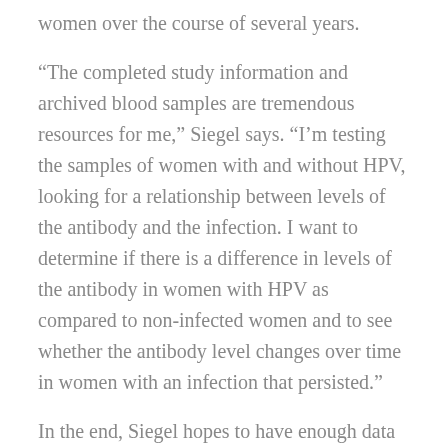women over the course of several years.
“The completed study information and archived blood samples are tremendous resources for me,” Siegel says. “I’m testing the samples of women with and without HPV, looking for a relationship between levels of the antibody and the infection. I want to determine if there is a difference in levels of the antibody in women with HPV as compared to non-infected women and to see whether the antibody level changes over time in women with an infection that persisted.”
In the end, Siegel hopes to have enough data to support a clinical trial to be conducted in thousands of women. “When used in